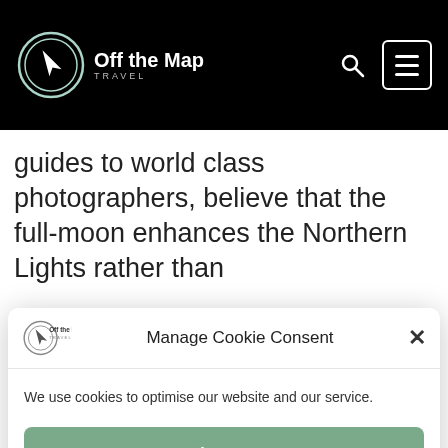Off the Map Travel
guides to world class photographers, believe that the full-moon enhances the Northern Lights rather than
Manage Cookie Consent
We use cookies to optimise our website and our service.
Accept
Opt Out
Change Preferences
Cookie Policy   Privacy Policy